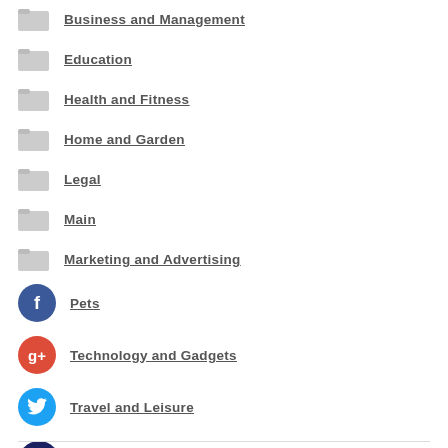Business and Management
Education
Health and Fitness
Home and Garden
Legal
Main
Marketing and Advertising
Pets
Technology and Gadgets
Travel and Leisure
[Figure (illustration): Dark blue circle with white plus sign — Add button]
Author Bio